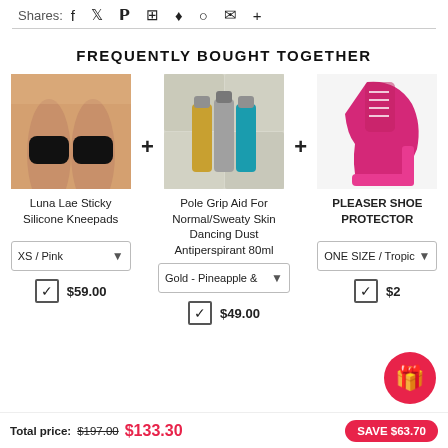Shares:
f  t  p  ▦  ♦  ○  ✉  +
FREQUENTLY BOUGHT TOGETHER
[Figure (photo): Luna Lae Sticky Silicone Kneepads product photo showing legs with black kneepads]
Luna Lae Sticky Silicone Kneepads
XS / Pink (dropdown)
$59.00
[Figure (photo): Pole Grip Aid For Normal/Sweaty Skin Dancing Dust Antiperspirant 80ml - three bottles (gold, silver, blue)]
Pole Grip Aid For Normal/Sweaty Skin Dancing Dust Antiperspirant 80ml
Gold - Pineapple & (dropdown)
$49.00
[Figure (photo): PLEASER SHOE PROTECTOR - pink/hot pink high heel platform boot]
PLEASER SHOE PROTECTOR
ONE SIZE / Tropici (dropdown)
$2...
Total price: $197.00  $133.30  SAVE $63.70